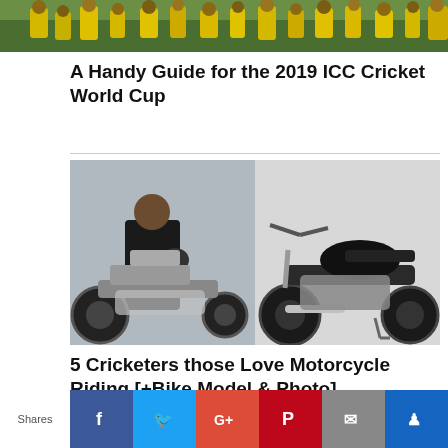[Figure (photo): Top portion of a crowd photo, likely from a cricket match with fans in yellow/green colors]
A Handy Guide for the 2019 ICC Cricket World Cup
[Figure (photo): Two photographs side by side: a man in motorcycle gear standing next to a heavy motorcycle, and a standalone black custom cafe racer motorcycle against a grey background]
5 Cricketers those Love Motorcycle Riding [+Bike Model & Photo]
Shares | Facebook | Twitter | Google+ | Pinterest | Email | Bookmark